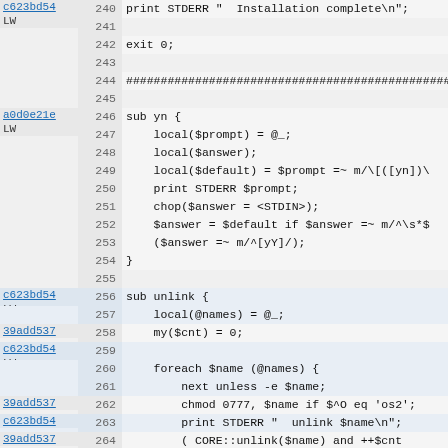Source code listing lines 240-271, Perl script with commit annotations
240: print STDERR "  Installation complete\n";
241: (empty)
242: exit 0;
243: (empty)
244: ################################################...
245: (empty)
246: sub yn {
247:     local($prompt) = @_;
248:     local($answer);
249:     local($default) = $prompt =~ m/\[([yn])\
250:     print STDERR $prompt;
251:     chop($answer = <STDIN>);
252:     $answer = $default if $answer =~ m/^\s*$
253:     ($answer =~ m/^[yY]/);
254: }
255: (empty)
256: sub unlink {
257:     local(@names) = @_;
258:     my($cnt) = 0;
259: (empty)
260:     foreach $name (@names) {
261:         next unless -e $name;
262:         chmod 0777, $name if $^O eq 'os2';
263:         print STDERR "  unlink $name\n";
264:         ( CORE::unlink($name) and ++$cnt
265:             or warn "Couldn't unlink $name: $!
266:     }
267:     return $cnt;
268: }
269: (empty)
270: sub safe_unlink {
271:     local(@names) = @_;